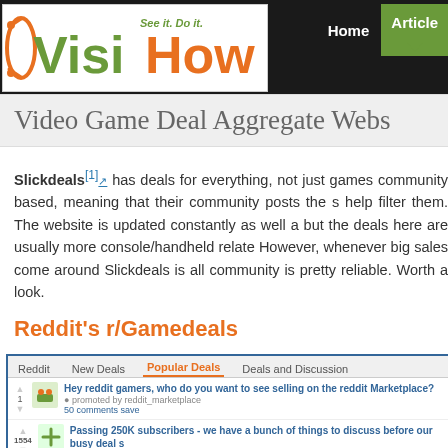[Figure (logo): VisiHow logo with green 'Visi' and orange 'How' text, tagline 'See it. Do it.']
Home  Articles
Video Game Deal Aggregate Webs...
Slickdeals[1] has deals for everything, not just games community based, meaning that their community posts the s help filter them. The website is updated constantly as well a but the deals here are usually more console/handheld relate However, whenever big sales come around Slickdeals is all community is pretty reliable. Worth a look.
Reddit's r/Gamedeals
[Figure (screenshot): Reddit r/Gamedeals screenshot showing tabs: Reddit, New Deals, Popular Deals, Deals and Discussion. Two post listings visible.]